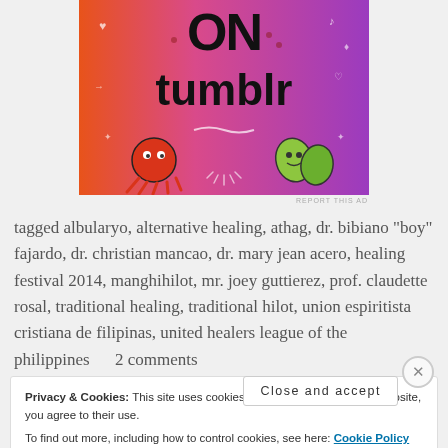[Figure (illustration): Tumblr advertisement banner with orange-to-purple gradient background, white doodles, text reading 'ON tumblr', illustrated octopus and leaf characters]
REPORT THIS AD
tagged albularyo, alternative healing, athag, dr. bibiano "boy" fajardo, dr. christian mancao, dr. mary jean acero, healing festival 2014, manghihilot, mr. joey guttierez, prof. claudette rosal, traditional healing, traditional hilot, union espiritista cristiana de filipinas, united healers league of the philippines      2 comments
Privacy & Cookies: This site uses cookies. By continuing to use this website, you agree to their use.
To find out more, including how to control cookies, see here: Cookie Policy
Close and accept